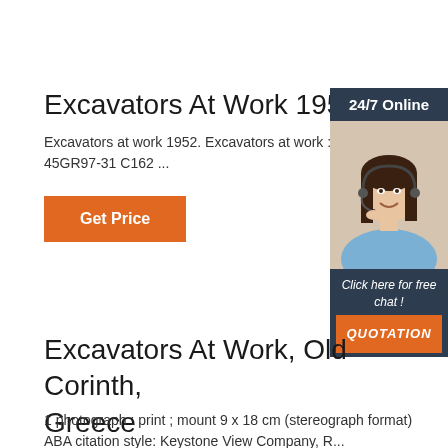Excavators At Work 1952
Excavators at work 1952. Excavators at work : 45GR97-31 C162 ...
[Figure (photo): Online chat advertisement with a woman wearing a headset, dark navy background, '24/7 Online' header, 'Click here for free chat!' text, and orange QUOTATION button]
Excavators At Work, Old Corinth, Greece
1 photograph : print ; mount 9 x 18 cm (stereograph format) ABA citation style: Keystone View Company, R...